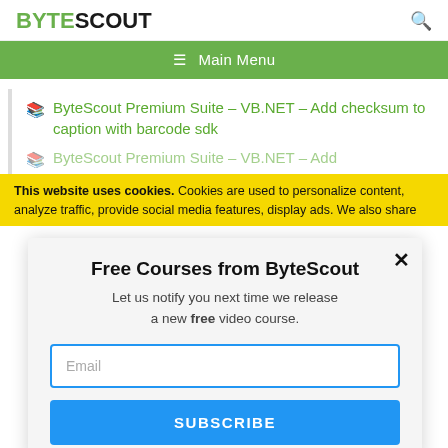BYTESCOUT [search icon]
≡ Main Menu
ByteScout Premium Suite – VB.NET – Add checksum to caption with barcode sdk
ByteScout Premium Suite – VB.NET – Add [truncated]
This website uses cookies. Cookies are used to personalize content, analyze traffic, provide social media features, display ads. We also share
Free Courses from ByteScout
Let us notify you next time we release a new free video course.
Email
SUBSCRIBE